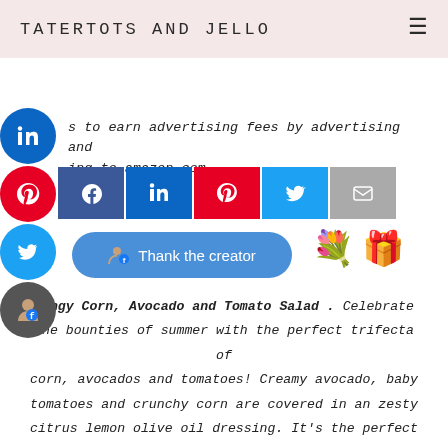TATERTOTS AND JELLO
s to earn advertising fees by advertising and ing to amazon.com.
[Figure (screenshot): Social media share buttons: LinkedIn, Pinterest, Twitter circles on left sidebar; row of share buttons (Facebook, LinkedIn, Pinterest, Twitter, Email); Thank the creator button; flower and gift emojis]
Tangy Corn, Avocado and Tomato Salad . Celebrate the bounties of summer with the perfect trifecta of corn, avocados and tomatoes! Creamy avocado, baby tomatoes and crunchy corn are covered in an zesty citrus lemon olive oil dressing. It's the perfect summertime salad – make it for dinner or to take to a BBQ or potluck!